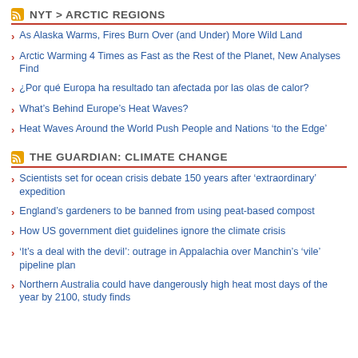NYT > ARCTIC REGIONS
As Alaska Warms, Fires Burn Over (and Under) More Wild Land
Arctic Warming 4 Times as Fast as the Rest of the Planet, New Analyses Find
¿Por qué Europa ha resultado tan afectada por las olas de calor?
What’s Behind Europe’s Heat Waves?
Heat Waves Around the World Push People and Nations ‘to the Edge’
THE GUARDIAN: CLIMATE CHANGE
Scientists set for ocean crisis debate 150 years after ‘extraordinary’ expedition
England’s gardeners to be banned from using peat-based compost
How US government diet guidelines ignore the climate crisis
‘It’s a deal with the devil’: outrage in Appalachia over Manchin’s ‘vile’ pipeline plan
Northern Australia could have dangerously high heat most days of the year by 2100, study finds